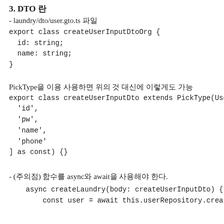3. DTO 란
- laundry/dto/user.gto.ts 파일
export class createUserInputDtoOrg {
  id: string;
  name: string;
}
PickType을 이용 사용하면 위의 것 대신에 이렇게도 가능
export class createUserInputDto extends PickType(User, [
  'id',
  'pw',
  'name',
  'phone'
] as const) {}
- (주의점) 함수를 async와 await을 사용해야 한다.
async createLaundry(body: createUserInputDto) {
    const user = await this.userRepository.create(body);